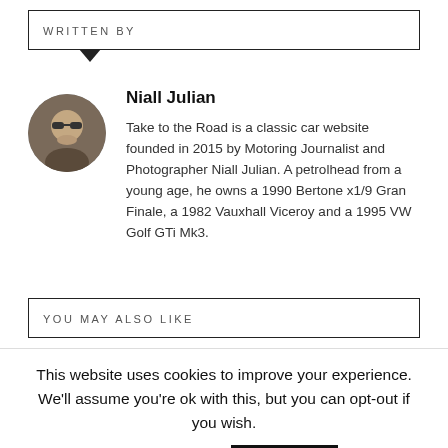WRITTEN BY
Niall Julian
Take to the Road is a classic car website founded in 2015 by Motoring Journalist and Photographer Niall Julian. A petrolhead from a young age, he owns a 1990 Bertone x1/9 Gran Finale, a 1982 Vauxhall Viceroy and a 1995 VW Golf GTi Mk3.
YOU MAY ALSO LIKE
This website uses cookies to improve your experience. We'll assume you're ok with this, but you can opt-out if you wish.
Cookie settings   ACCEPT